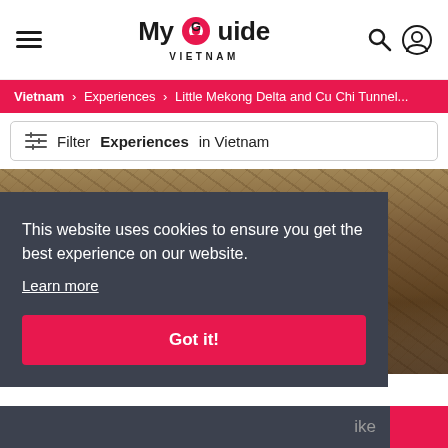My Guide VIETNAM
Vietnam > Experiences > Little Mekong Delta and Cu Chi Tunnel...
Filter Experiences in Vietnam
[Figure (photo): Ground-level photo showing hands holding a wooden board/trap door covered with leaves, likely at Cu Chi Tunnels, Vietnam]
This website uses cookies to ensure you get the best experience on our website.
Learn more
Got it!
ike